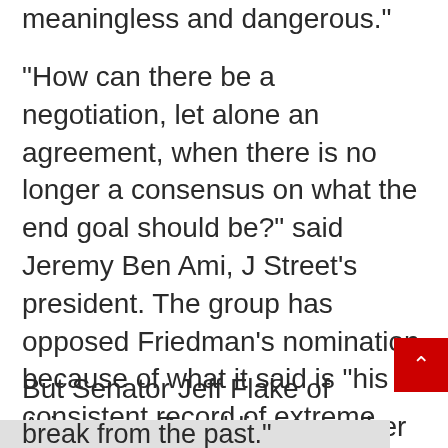meaningless and dangerous."
"How can there be a negotiation, let alone an agreement, when there is no longer a consensus on what the end goal should be?" said Jeremy Ben Ami, J Street's president. The group has opposed Friedman's nomination because of what it said is "his consistent record of extreme and offensive attacks on senior US officials, on American diplomats and on liberal American Jews."
But Senator Jeff Flake of Arizona, a Republican member of the Foreign Relations Committee, downplayed Trump's statement. "He said we should leave it to those who are negotiating, the Israelis and the Palestinians," Flake said. "It
break from the past."